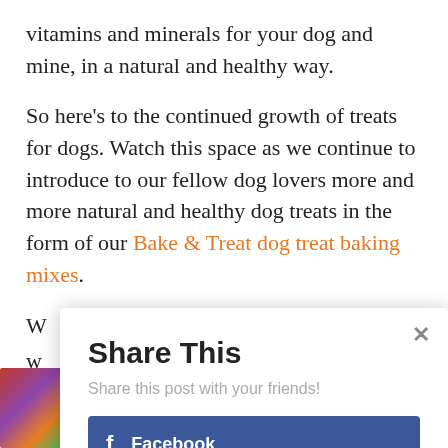vitamins and minerals for your dog and mine, in a natural and healthy way.
So here's to the continued growth of treats for dogs. Watch this space as we continue to introduce to our fellow dog lovers more and more natural and healthy dog treats in the form of our Bake & Treat dog treat baking mixes.
W
w
ja
Share This
Share this post with your friends!
Facebook
Twitter